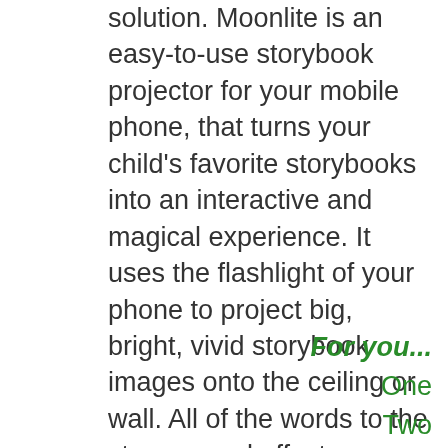solution. Moonlite is an easy-to-use storybook projector for your mobile phone, that turns your child's favorite storybooks into an interactive and magical experience. It uses the flashlight of your phone to project big, bright, vivid storybook images onto the ceiling or wall. All of the words to the story, sound effects, background music and more display within the Moonlite App. Bedtime will never be the same!
For you... One Two Lash- Who does not